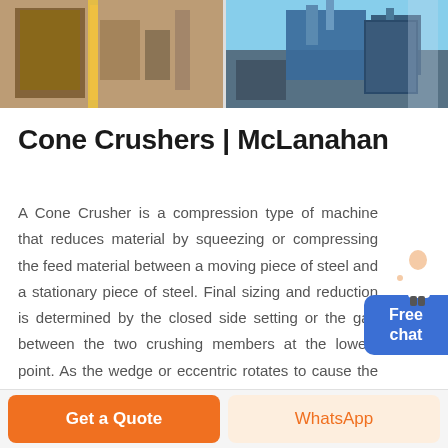[Figure (photo): Two side-by-side industrial photographs: left shows machinery with yellow structural element and brown/orange industrial equipment; right shows a blue industrial crushing/processing machine outdoors against a sky background.]
Cone Crushers | McLanahan
A Cone Crusher is a compression type of machine that reduces material by squeezing or compressing the feed material between a moving piece of steel and a stationary piece of steel. Final sizing and reduction is determined by the closed side setting or the gap between the two crushing members at the lowest point. As the wedge or eccentric rotates to cause the compression within the chamber, the ...